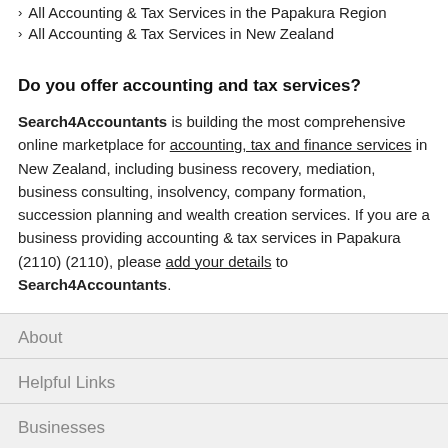All Accounting & Tax Services in the Papakura Region
All Accounting & Tax Services in New Zealand
Do you offer accounting and tax services?
Search4Accountants is building the most comprehensive online marketplace for accounting, tax and finance services in New Zealand, including business recovery, mediation, business consulting, insolvency, company formation, succession planning and wealth creation services. If you are a business providing accounting & tax services in Papakura (2110) (2110), please add your details to Search4Accountants.
About
Helpful Links
Businesses